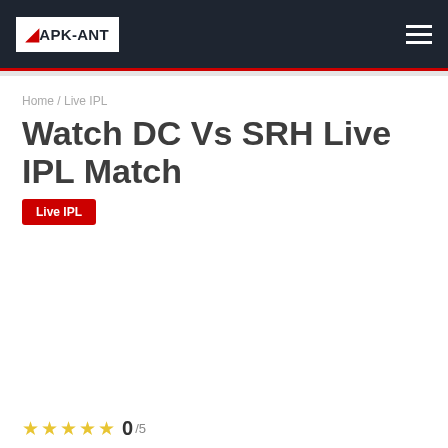APK-ANT
Home / Live IPL
Watch DC Vs SRH Live IPL Match
Live IPL
0/5